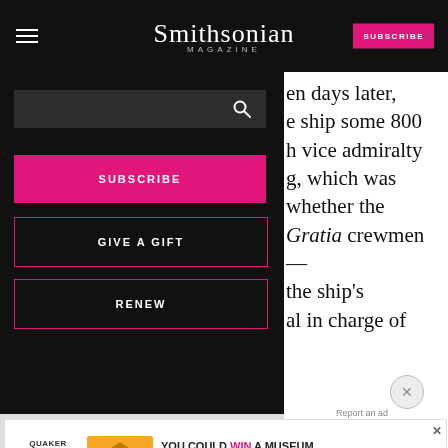Smithsonian MAGAZINE
SUBSCRIBE
GIVE A GIFT
RENEW
en days later, e ship some 800 h vice admiralty g, which was whether the Gratia crewmen— the ship's al in charge of
[Figure (screenshot): Quaker Museum Day advertisement banner: YOU COULD WIN A MUSEUM FIELD TRIP TO D.C. LEARN MORE]
SCIENCE